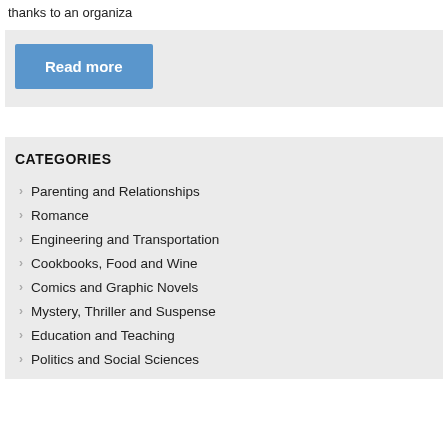thanks to an organiza
Read more
CATEGORIES
Parenting and Relationships
Romance
Engineering and Transportation
Cookbooks, Food and Wine
Comics and Graphic Novels
Mystery, Thriller and Suspense
Education and Teaching
Politics and Social Sciences